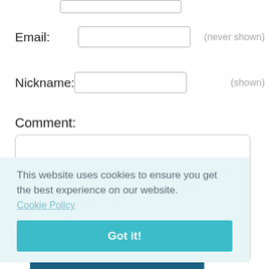Email:
(never shown)
Nickname:
(shown)
Comment:
[Figure (screenshot): Cookie consent banner with text 'This website uses cookies to ensure you get the best experience on our website.' and a Cookie Policy link, plus a teal 'Got it!' button]
Add Comment